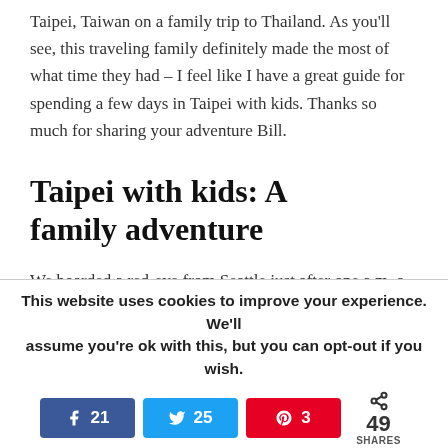Taipei, Taiwan on a family trip to Thailand. As you'll see, this traveling family definitely made the most of what time they had – I feel like I have a great guide for spending a few days in Taipei with kids. Thanks so much for sharing your adventure Bill.
Taipei with kids: A family adventure
We boarded a red-eye from Seattle just after one a.m. a couple of days before Christmas and most of us were already asleep by the time the flight took off. The 13-hour trip still left time for
This website uses cookies to improve your experience. We'll assume you're ok with this, but you can opt-out if you wish.
Facebook 21 | Twitter 25 | Pinterest 3 | 49 SHARES